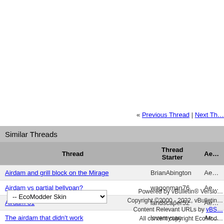« Previous Thread | Next Th…
Similar Threads
| Thread | Thread Starter | Ae… |
| --- | --- | --- |
| Airdam and grill block on the Mirage | BrianAbington | Ae… |
| Airdam vs partial bellypan? | wagonman76 | Ae… |
| Airdam 01 | landscaper52 | Ae… |
| The airdam that didn't work | lovemysan | Ae… |
| Upper front splitter | apgrok1 | Ae… |
-- EcoModder Skin
Powered by vBulletin® Versio… Copyright ©2000 - 2022, vBulletin… Content Relevant URLs by vBS… All content copyright EcoMod…